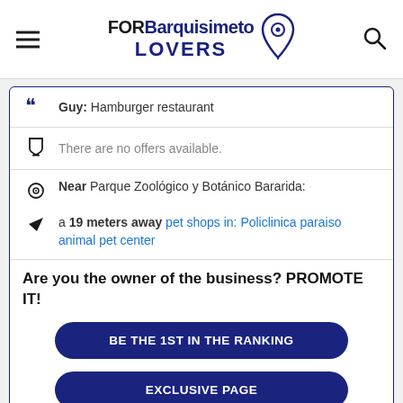FORBarquisimeto LOVERS
Guy: Hamburger restaurant
There are no offers available.
Near Parque Zoológico y Botánico Bararida:
a 19 meters away pet shops in: Policlinica paraiso animal pet center
Are you the owner of the business? PROMOTE IT!
BE THE 1ST IN THE RANKING
EXCLUSIVE PAGE